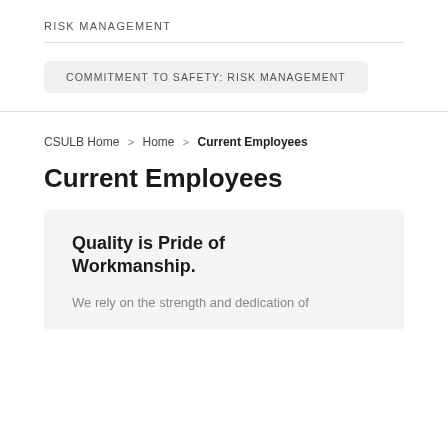RISK MANAGEMENT
COMMITMENT TO SAFETY: RISK MANAGEMENT
CSULB Home > Home > Current Employees
Current Employees
Quality is Pride of Workmanship.
We rely on the strength and dedication of